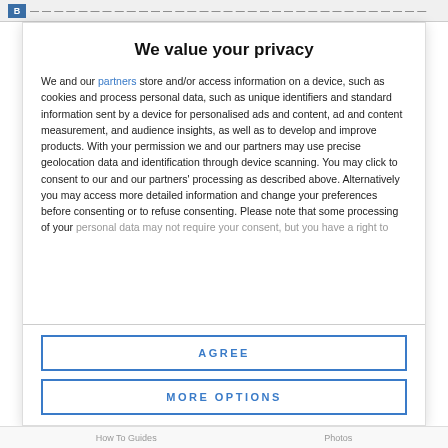B [logo/nav bar]
We value your privacy
We and our partners store and/or access information on a device, such as cookies and process personal data, such as unique identifiers and standard information sent by a device for personalised ads and content, ad and content measurement, and audience insights, as well as to develop and improve products. With your permission we and our partners may use precise geolocation data and identification through device scanning. You may click to consent to our and our partners' processing as described above. Alternatively you may access more detailed information and change your preferences before consenting or to refuse consenting. Please note that some processing of your personal data may not require your consent, but you have a right to
AGREE
MORE OPTIONS
How To Guides   Photos